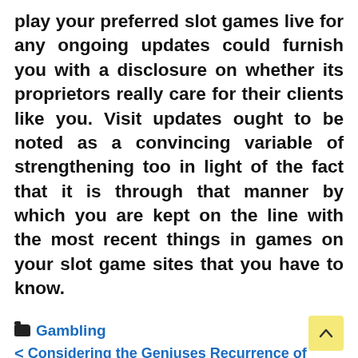play your preferred slot games live for any ongoing updates could furnish you with a disclosure on whether its proprietors really care for their clients like you. Visit updates ought to be noted as a convincing variable of strengthening too in light of the fact that it is through that manner by which you are kept on the line with the most recent things in games on your slot game sites that you have to know.
Gambling
< Considering the Geniuses Recurrence of